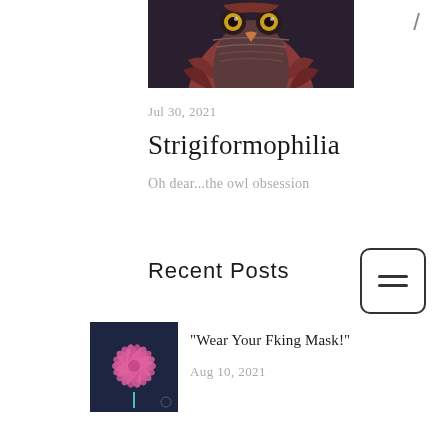[Figure (illustration): Partial view of a stylized owl illustration on dark background, showing the owl's face with yellow eyes and reddish-orange feathers, cropped at top]
Jul 30, 2021
Strigiformophilia
Oh dear...the owl obsession
Recent Posts
[Figure (illustration): Thumbnail image of a pink chrysanthemum flower illustration on dark navy background]
"Wear Your Fking Mask!"
Aug 10, 2021